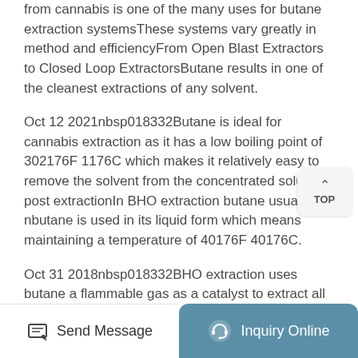from cannabis is one of the many uses for butane extraction systemsThese systems vary greatly in method and efficiencyFrom Open Blast Extractors to Closed Loop ExtractorsButane results in one of the cleanest extractions of any solvent.
Oct 12 2021nbsp018332Butane is ideal for cannabis extraction as it has a low boiling point of 302176F 1176C which makes it relatively easy to remove the solvent from the concentrated solution post extractionIn BHO extraction butane usually nbutane is used in its liquid form which means maintaining a temperature of 40176F 40176C.
Oct 31 2018nbsp018332BHO extraction uses butane a flammable gas as a catalyst to extract all the cannabinoids and terpenes from the plant
[Figure (other): TOP button with upward arrow chevron icon, used for scrolling to top of page]
[Figure (other): Bottom navigation bar with two sections: left white section with pencil/message icon and 'Send Message' text, right teal/blue-grey section with headset icon and 'Inquiry Online' text]